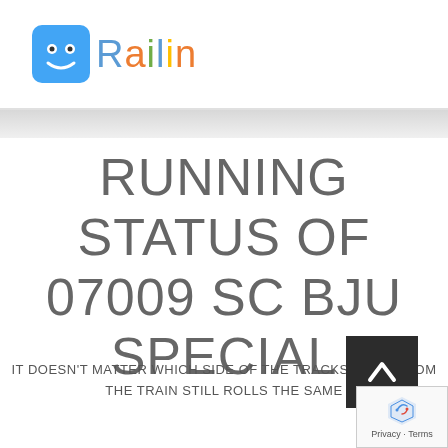Railin
RUNNING STATUS OF 07009 SC BJU SPECIAL
IT DOESN'T MATTER WHICH SIDE OF THE TRACKS YOUR FROM
THE TRAIN STILL ROLLS THE SAME